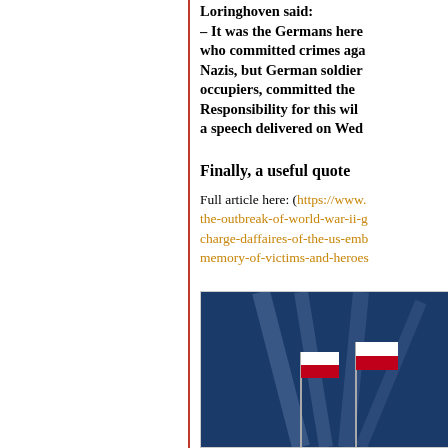Loringhoven said:
– It was the Germans here who committed crimes against Nazis, but German soldiers, as occupiers, committed the crimes. Responsibility for this will... a speech delivered on Wednesday
Finally, a useful quote
Full article here: (https://www.the-outbreak-of-world-war-ii-g-charge-daffaires-of-the-us-emb-memory-of-victims-and-heroes
[Figure (photo): Photograph of Polish flags on poles against a blue sky with light beams]